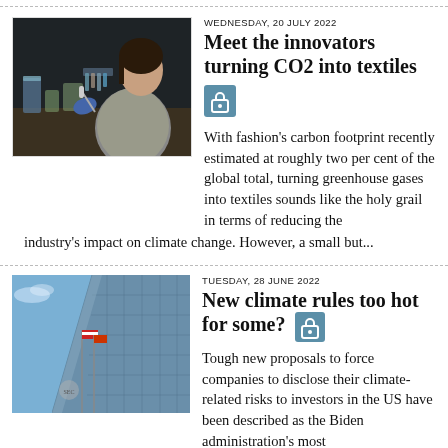[Figure (photo): A woman in a lab wearing blue gloves, pipetting liquid near beakers and lab equipment on a bench.]
WEDNESDAY, 20 JULY 2022
Meet the innovators turning CO2 into textiles
[Figure (other): Padlock icon on blue background indicating subscriber-only content.]
With fashion's carbon footprint recently estimated at roughly two per cent of the global total, turning greenhouse gases into textiles sounds like the holy grail in terms of reducing the industry's impact on climate change. However, a small but...
[Figure (photo): Exterior of a large modern glass office building with American flags, photographed from below against a blue sky.]
TUESDAY, 28 JUNE 2022
New climate rules too hot for some?
[Figure (other): Padlock icon on blue background indicating subscriber-only content.]
Tough new proposals to force companies to disclose their climate-related risks to investors in the US have been described as the Biden administration's most significant action so far on climate change. The Securities and Exchange Commission (SEC)